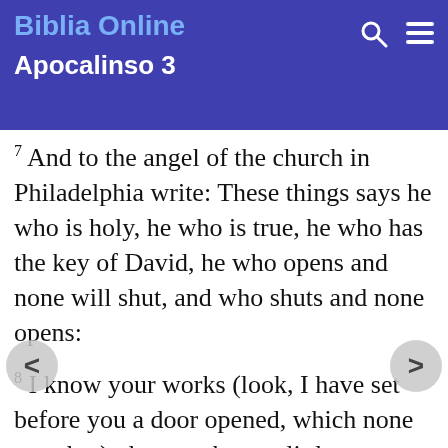Biblia Online
Apocalinso 3
7 And to the angel of the church in Philadelphia write: These things says he who is holy, he who is true, he who has the key of David, he who opens and none will shut, and who shuts and none opens:
8 I know your works (look, I have set before you a door opened, which none can shut), that you have a little power, and kept my word, and did not deny my name.
9 Look, I give of the synagogue of Satan, of those who say they are Jews, and they